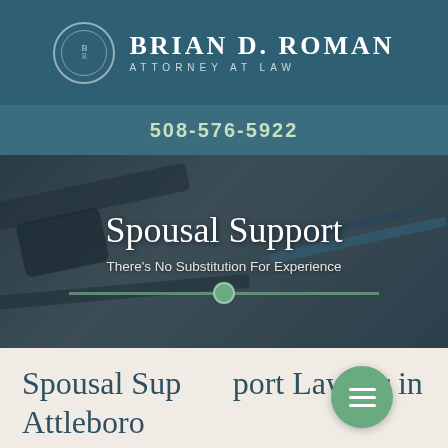BRIAN D. ROMAN ATTORNEY AT LAW
508-576-5922
[Figure (photo): Hero banner with blurred gavel and legal tools background, overlaid with text 'Spousal Support' and 'There's No Substitution For Experience' with a decorative divider line]
Spousal Support
There's No Substitution For Experience
Spousal Support Lawyer in Attleboro